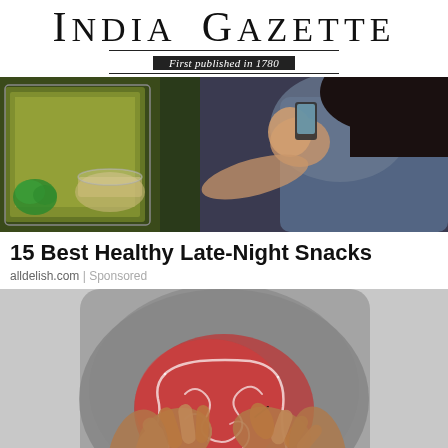India Gazette — First published in 1780
[Figure (photo): Person looking into an open refrigerator at night, with food items visible including lettuce and a glass bowl with food]
15 Best Healthy Late-Night Snacks
alldelish.com | Sponsored
[Figure (photo): Person in grey shirt clutching their stomach/abdomen area with an illustrated overlay showing the intestines/digestive system highlighted in red]